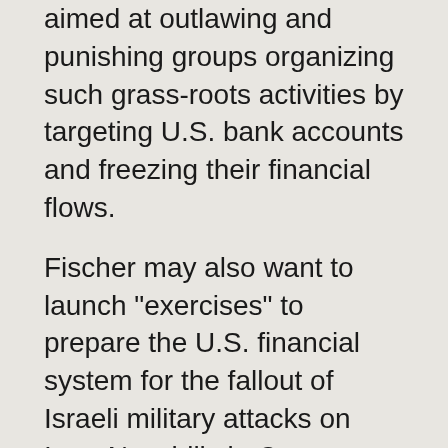aimed at outlawing and punishing groups organizing such grass-roots activities by targeting U.S. bank accounts and freezing their financial flows.
Fischer may also want to launch "exercises" to prepare the U.S. financial system for the fallout of Israeli military attacks on Iran. New bills in Congress drafted by AIPAC call not only for additional sanctions aimed at thwarting a fledgling deal on Iran’s nuclear program (favored 2-to-1 by Americans). AIPAC’s bill forces the U.S. to "have Israel's back" in the event of a unilateral Israeli strike. If Israel has already decided to attack Iran, it would benefit immensely from having Fischer inside the Fed, protecting the financial flows Israel now regards as all but a birthright from its primary global underwriter. Less well-known is the Fed’s authority to authorize foreign bank acquisitions. Any future Israeli campaign to further entwine its